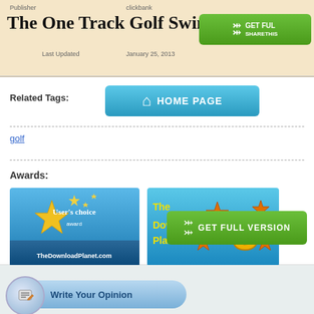Publisher    clickbank
The One Track Golf Swing
Last Updated    January 25, 2013
[Figure (screenshot): Green GET FULL VERSION button with double chevron icon]
[Figure (screenshot): Blue HOME PAGE button with house icon]
Related Tags:
golf
Awards:
[Figure (illustration): User's choice award badge from TheDownloadPlanet.com with star graphic on blue background]
[Figure (illustration): The Download Planet.com 5-star award badge with large star graphic on blue gradient background]
[Figure (screenshot): Green GET FULL VERSION button with double chevron icon]
Write Your Opinion